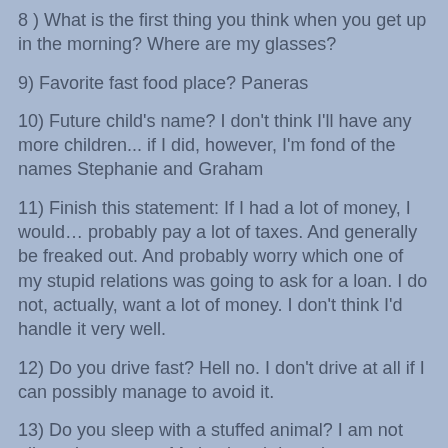8 ) What is the first thing you think when you get up in the morning? Where are my glasses?
9) Favorite fast food place? Paneras
10) Future child's name? I don't think I'll have any more children... if I did, however, I'm fond of the names Stephanie and Graham
11) Finish this statement: If I had a lot of money, I would… probably pay a lot of taxes. And generally be freaked out. And probably worry which one of my stupid relations was going to ask for a loan. I do not, actually, want a lot of money. I don't think I'd handle it very well.
12) Do you drive fast? Hell no. I don't drive at all if I can possibly manage to avoid it.
13) Do you sleep with a stuffed animal? I am not allowed, anymore. My husband doesn't want any stuffies on the bed. I do have a bunch, still.